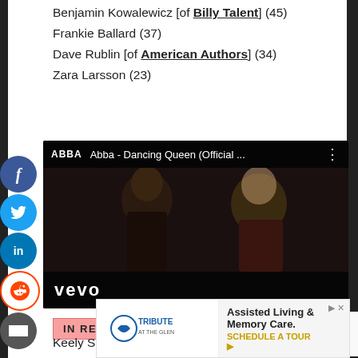Benjamin Kowalewicz [of Billy Talent] (45)
Frankie Ballard (37)
Dave Rublin [of American Authors] (34)
Zara Larsson (23)
[Figure (screenshot): YouTube video embed showing ABBA - Dancing Queen (Official ...) with Vevo branding. Two women singing on stage. Red play button in center.]
IN REMEMBRANCE
Keely Smith (1928-2017)
[Figure (infographic): Advertisement for Tribute At The Glen: Assisted Living & Memory Care. Schedule A Tour.]